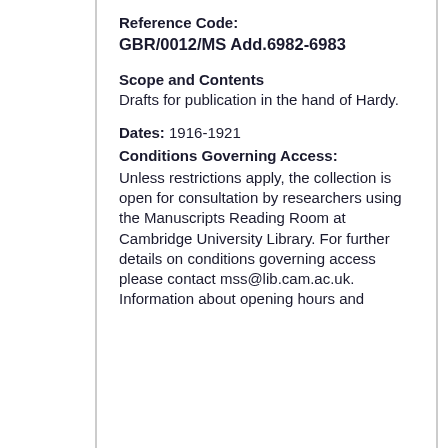Reference Code: GBR/0012/MS Add.6982-6983
Scope and Contents
Drafts for publication in the hand of Hardy.
Dates: 1916-1921
Conditions Governing Access:
Unless restrictions apply, the collection is open for consultation by researchers using the Manuscripts Reading Room at Cambridge University Library. For further details on conditions governing access please contact mss@lib.cam.ac.uk. Information about opening hours and